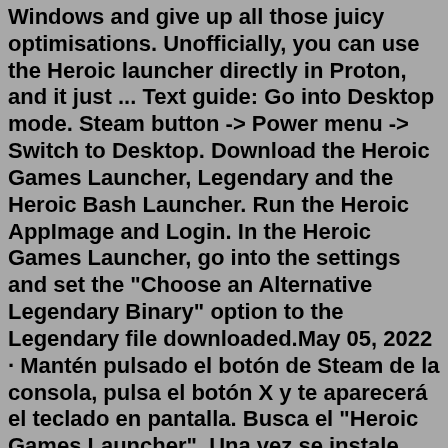Windows and give up all those juicy optimisations. Unofficially, you can use the Heroic launcher directly in Proton, and it just ... Text guide: Go into Desktop mode. Steam button -> Power menu -> Switch to Desktop. Download the Heroic Games Launcher, Legendary and the Heroic Bash Launcher. Run the Heroic AppImage and Login. In the Heroic Games Launcher, go into the settings and set the "Choose an Alternative Legendary Binary" option to the Legendary file downloaded.May 05, 2022 · Mantén pulsado el botón de Steam de la consola, pulsa el botón X y te aparecerá el teclado en pantalla. Busca el "Heroic Games Launcher". Una vez se instale, ejecútalo. Introduce tus credenciales de cualquiera de las dos plataformas para acceder a tu biblioteca de juegos de cada una de ellas. Steam Deck > General Discussions ... This would be better suited to the subreddit for Heroic Games Launcher. yea but easy to do here XP also i dont use reddit #2 < > Here's an update to my original guide on installing Epic Games on Steam Deck that everyone is copying: